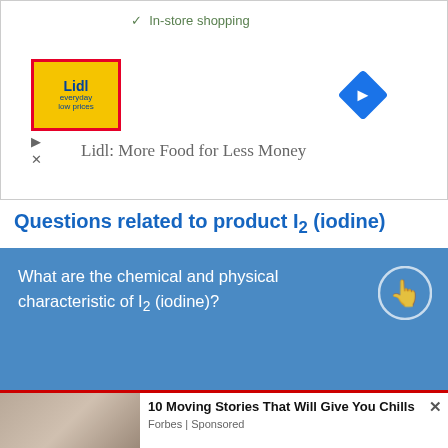[Figure (screenshot): Top advertisement area showing Lidl logo, navigation arrow diamond icon, checkmark text 'In-store shopping', play/close buttons, and 'Lidl: More Food for Less Money' tagline]
Questions related to product I2 (iodine)
What are the chemical and physical characteristic of I2 (iodine)?
What are the chemical reactions of (Cuprous iodide(CuI); Copper Marshite; Copper(I) iodide; I... prduct?
[Figure (screenshot): Ureka Media video advertisement overlay with X close button, ADVERTISING label, pink/purple swirl logo, play controls, and 'Xem Thêm' button]
[Figure (screenshot): Bottom ad panel: Forbes sponsored content showing '10 Moving Stories That Will Give You Chills' with a person photo and X close button]